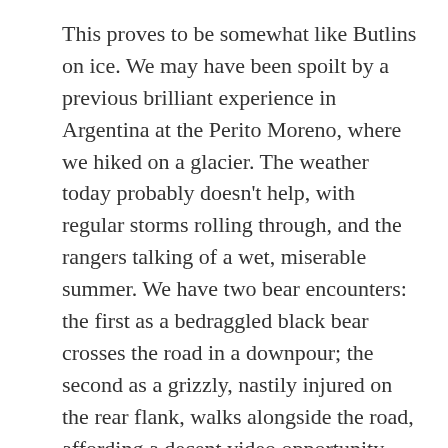This proves to be somewhat like Butlins on ice. We may have been spoilt by a previous brilliant experience in Argentina at the Perito Moreno, where we hiked on a glacier. The weather today probably doesn't help, with regular storms rolling through, and the rangers talking of a wet, miserable summer. We have two bear encounters: the first as a bedraggled black bear crosses the road in a downpour; the second as a grizzly, nastily injured on the rear flank, walks alongside the road, affording a decent video opportunity.
We arrive in Jasper to be greeted by a heavy hailstorm, and sit it out in the car before checking in to the Alpine Village Lodge, which gives us our cabin for the next three nights. The thunder hammers away as we investigate Jasper – another frontier town. As we emerge from the Dead Dog bar after a couple of pints of Elk Lager, we are